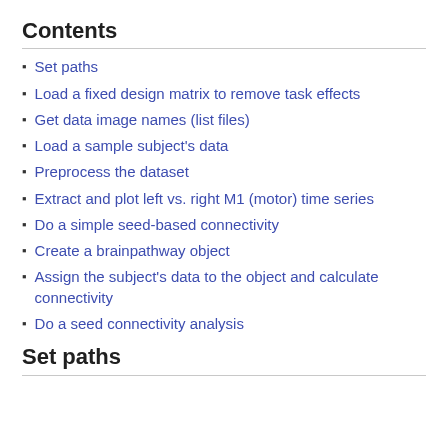Contents
Set paths
Load a fixed design matrix to remove task effects
Get data image names (list files)
Load a sample subject's data
Preprocess the dataset
Extract and plot left vs. right M1 (motor) time series
Do a simple seed-based connectivity
Create a brainpathway object
Assign the subject's data to the object and calculate connectivity
Do a seed connectivity analysis
Set paths